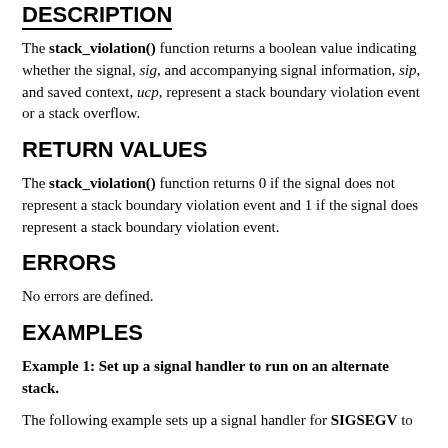DESCRIPTION
The stack_violation() function returns a boolean value indicating whether the signal, sig, and accompanying signal information, sip, and saved context, ucp, represent a stack boundary violation event or a stack overflow.
RETURN VALUES
The stack_violation() function returns 0 if the signal does not represent a stack boundary violation event and 1 if the signal does represent a stack boundary violation event.
ERRORS
No errors are defined.
EXAMPLES
Example 1: Set up a signal handler to run on an alternate stack.
The following example sets up a signal handler for SIGSEGV to